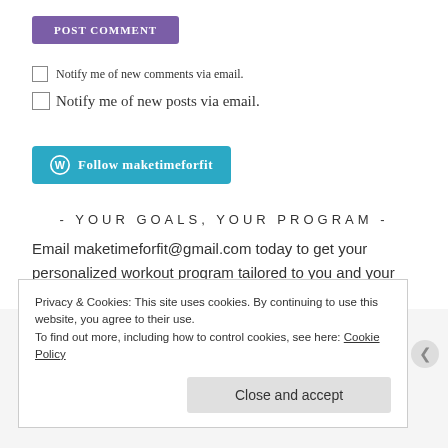POST COMMENT
Notify me of new comments via email.
Notify me of new posts via email.
Follow maketimeforfit
- YOUR GOALS, YOUR PROGRAM -
Email maketimeforfit@gmail.com today to get your personalized workout program tailored to you and your schedule!
Privacy & Cookies: This site uses cookies. By continuing to use this website, you agree to their use.
To find out more, including how to control cookies, see here: Cookie Policy
Close and accept